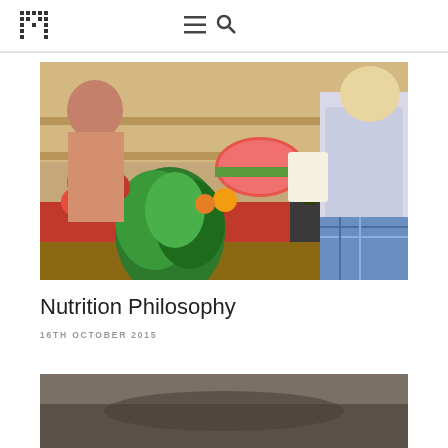[Figure (logo): Stylized letter M logo mark in black, geometric/grid style]
[Figure (photo): Woman shopping at a colorful outdoor produce/vegetable market, selecting fresh vegetables including parsley and various colorful fruits and vegetables on display]
Nutrition Philosophy
16TH OCTOBER 2015
[Figure (photo): Partial bottom image, blurred/dark, appears to be another food-related photograph]